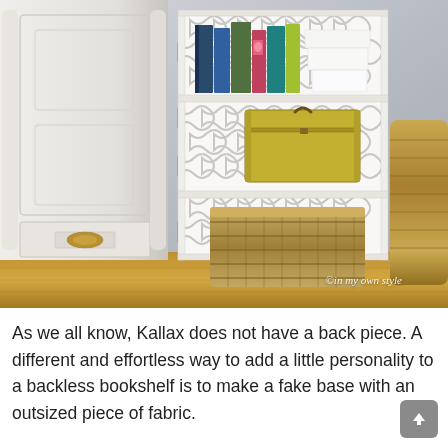[Figure (photo): A white IKEA Kallax bookshelf with moroccan/quatrefoil patterned wallpaper on the back wall. Top shelf holds colorful books and white stacked boxes. Middle shelf has a yellow vintage-style suitcase/box. Bottom shelf holds a woven wicker basket. To the left is a white painted wooden furniture piece. To the right is a large woven basket. Hardwood floor visible at bottom. Watermark reads '©in my own style' in the lower right.]
As we all know, Kallax does not have a back piece. A different and effortless way to add a little personality to a backless bookshelf is to make a fake base with an outsized piece of fabric.